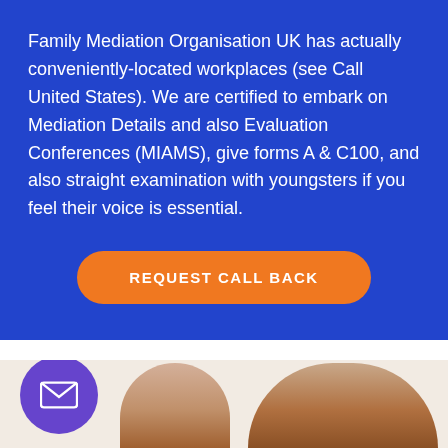Family Mediation Organisation UK has actually conveniently-located workplaces (see Call United States). We are certified to embark on Mediation Details and also Evaluation Conferences (MIAMS), give forms A & C100, and also straight examination with youngsters if you feel their voice is essential.
REQUEST CALL BACK
30 IMPORTANT UK FAMILY MEDIATION FACTS 2021
[Figure (photo): Two people (partial, cropped) visible at bottom of page, alongside a purple circular email button icon]